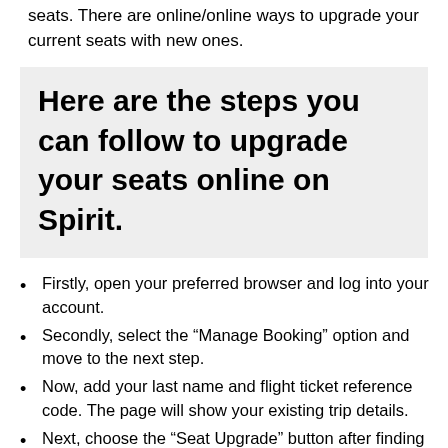seats. There are online/online ways to upgrade your current seats with new ones.
Here are the steps you can follow to upgrade your seats online on Spirit.
Firstly, open your preferred browser and log into your account.
Secondly, select the “Manage Booking” option and move to the next step.
Now, add your last name and flight ticket reference code. The page will show your existing trip details.
Next, choose the “Seat Upgrade” button after finding your flight reservation.
You will see all the available seats and reserve the seat that best suits your requirements.
After that, choose your payment mode and click on the